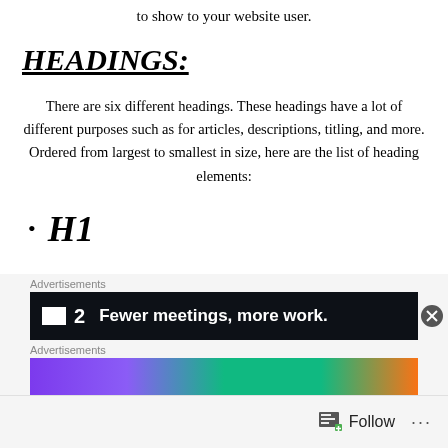to show to your website user.
HEADINGS:
There are six different headings. These headings have a lot of different purposes such as for articles, descriptions, titling, and more. Ordered from largest to smallest in size, here are the list of heading elements:
H1
[Figure (screenshot): Advertisement banner for a project management tool showing a dark background with logo, number 2, and text 'Fewer meetings, more work.' with a close button.]
[Figure (screenshot): Second advertisement banner with colorful gradient background (purple, green, orange).]
Follow ...